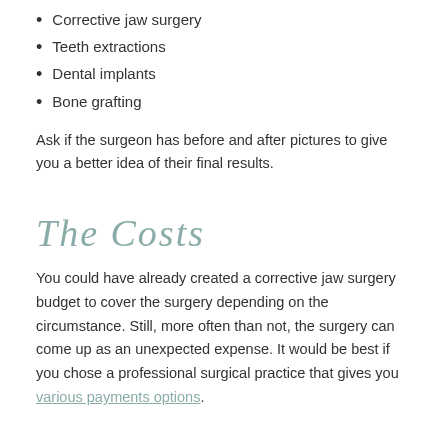Corrective jaw surgery
Teeth extractions
Dental implants
Bone grafting
Ask if the surgeon has before and after pictures to give you a better idea of their final results.
The Costs
You could have already created a corrective jaw surgery budget to cover the surgery depending on the circumstance. Still, more often than not, the surgery can come up as an unexpected expense. It would be best if you chose a professional surgical practice that gives you various payments options.